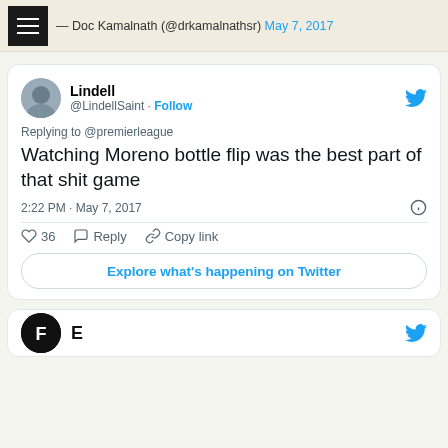— Doc Kamalnath (@drkamalnathsr) May 7, 2017
[Figure (screenshot): Embedded tweet from @LindellSaint replying to @premierleague: 'Watching Moreno bottle flip was the best part of that shit game', posted 2:22 PM · May 7, 2017, with 36 likes, Reply and Copy link actions, and Explore what's happening on Twitter button.]
[Figure (screenshot): Partial view of a second tweet card showing an FT-style avatar and Twitter bird icon.]